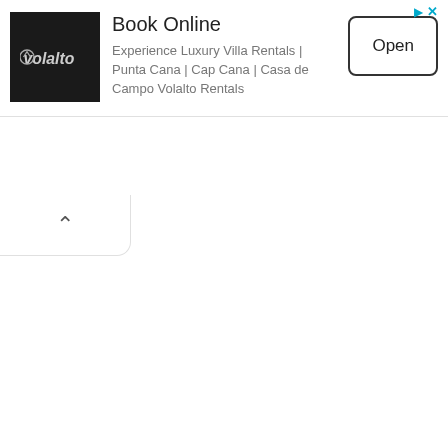[Figure (logo): Volalto brand logo — white stylized V symbol on black square background]
Book Online
Experience Luxury Villa Rentals | Punta Cana | Cap Cana | Casa de Campo Volalto Rentals
Open